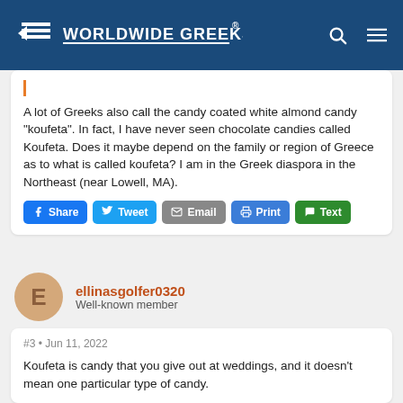Worldwide Greeks
A lot of Greeks also call the candy coated white almond candy "koufeta". In fact, I have never seen chocolate candies called Koufeta. Does it maybe depend on the family or region of Greece as to what is called koufeta? I am in the Greek diaspora in the Northeast (near Lowell, MA).
ellinasgolfer0320
Well-known member
#3 • Jun 11, 2022
Koufeta is candy that you give out at weddings, and it doesn't mean one particular type of candy.